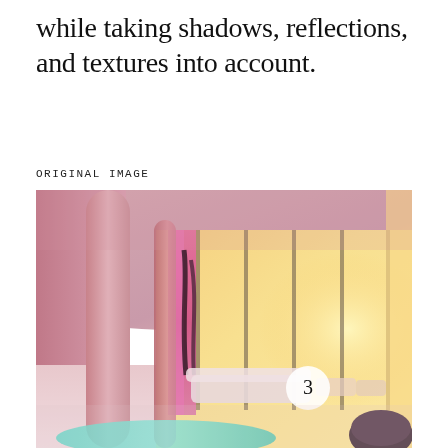while taking shadows, reflections, and textures into account.
ORIGINAL IMAGE
[Figure (photo): Interior of a futuristic pink-hued living room with large floor-to-ceiling windows, pink curtains, columns, a sofa, and a numbered marker '3' visible in the scene. Warm sunset light fills the space.]